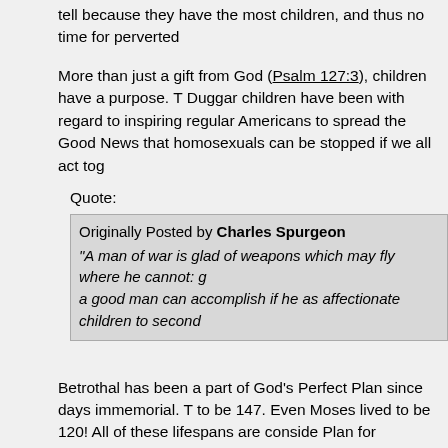tell because they have the most children, and thus no time for perverted
More than just a gift from God (Psalm 127:3), children have a purpose. The Duggar children have been with regard to inspiring regular Americans to spread the Good News that homosexuals can be stopped if we all act tog
Quote:
Originally Posted by Charles Spurgeon
"A man of war is glad of weapons which may fly where he cannot: g a good man can accomplish if he as affectionate children to second
Betrothal has been a part of God's Perfect Plan since days immemorial. T to be 147. Even Moses lived to be 120! All of these lifespans are conside Plan for Marriage. Life was simpler then, the world was safer then, fami work out.
Youths who object to the LORD's Way object to being blessed. It's delus eternity (Revelation 20:10). That kind of thinking should not be rewarde